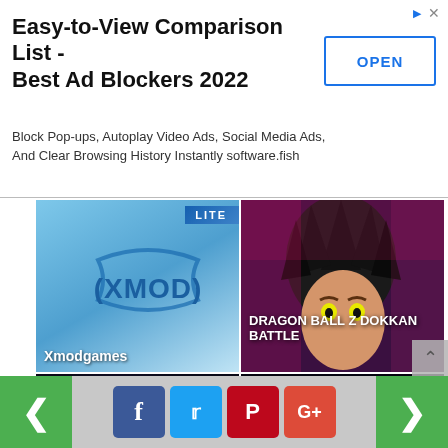[Figure (screenshot): Ad banner: Easy-to-View Comparison List - Best Ad Blockers 2022. Block Pop-ups, Autoplay Video Ads, Social Media Ads, And Clear Browsing History Instantly software.fish. OPEN button.]
[Figure (screenshot): 2x2 grid of app thumbnails: Xmodgames (top-left), Dragon Ball Z Dokkan Battle (top-right), Garena Free Fire Anniversary (bottom-left), Music Paradise Pro+ (bottom-right)]
[Figure (screenshot): Navigation footer with green prev/next arrows and social media share buttons: Facebook, Twitter, Pinterest, Google+]